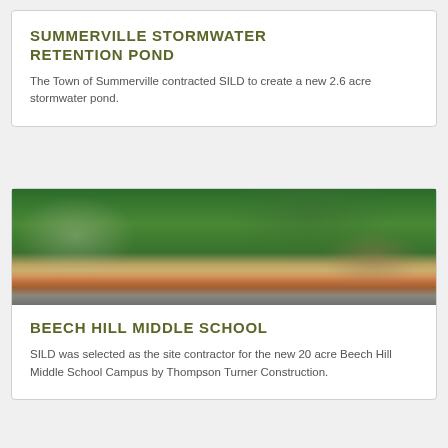SUMMERVILLE STORMWATER RETENTION POND
The Town of Summerville contracted SILD to create a new 2.6 acre stormwater pond.
[Figure (photo): Aerial photograph showing a construction site with a stormwater retention pond area surrounded by dense green forest, with residential area visible on the left and bare earth/construction work in the center-right.]
BEECH HILL MIDDLE SCHOOL
SILD was selected as the site contractor for the new 20 acre Beech Hill Middle School Campus by Thompson Turner Construction.